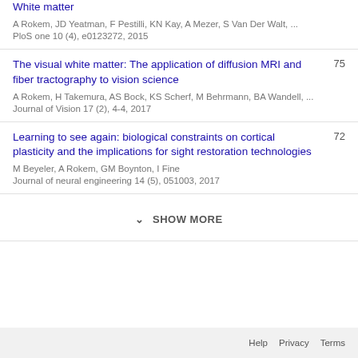White matter (truncated title at top)
A Rokem, JD Yeatman, F Pestilli, KN Kay, A Mezer, S Van Der Walt, ...
PloS one 10 (4), e0123272, 2015
The visual white matter: The application of diffusion MRI and fiber tractography to vision science
A Rokem, H Takemura, AS Bock, KS Scherf, M Behrmann, BA Wandell, ...
Journal of Vision 17 (2), 4-4, 2017
75
Learning to see again: biological constraints on cortical plasticity and the implications for sight restoration technologies
M Beyeler, A Rokem, GM Boynton, I Fine
Journal of neural engineering 14 (5), 051003, 2017
72
SHOW MORE
Help  Privacy  Terms